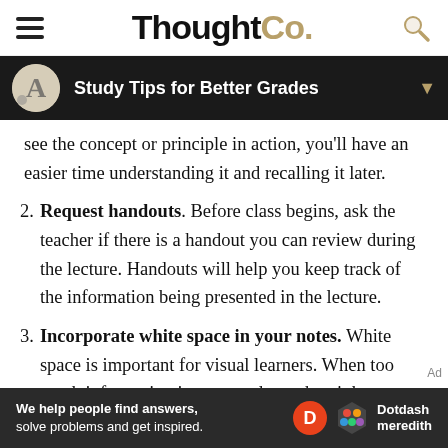ThoughtCo.
Study Tips for Better Grades
see the concept or principle in action, you'll have an easier time understanding it and recalling it later.
2. Request handouts. Before class begins, ask the teacher if there is a handout you can review during the lecture. Handouts will help you keep track of the information being presented in the lecture.
3. Incorporate white space in your notes. White space is important for visual learners. When too much information is crammed together, it becomes difficult to read. Think of white space as...
Ad We help people find answers, solve problems and get inspired. Dotdash meredith